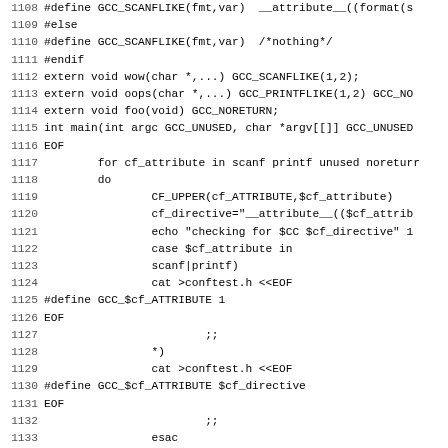Source code listing lines 1108-1139, shell script / C preprocessor code
1108 #define GCC_SCANFLIKE(fmt,var)  __attribute__((format(s
1109 #else
1110 #define GCC_SCANFLIKE(fmt,var)  /*nothing*/
1111 #endif
1112 extern void wow(char *,...) GCC_SCANFLIKE(1,2);
1113 extern void oops(char *,...) GCC_PRINTFLIKE(1,2) GCC_NO
1114 extern void foo(void) GCC_NORETURN;
1115 int main(int argc GCC_UNUSED, char *argv[[]] GCC_UNUSED
1116 EOF
1117         for cf_attribute in scanf printf unused noreturr
1118         do
1119                 CF_UPPER(cf_ATTRIBUTE,$cf_attribute)
1120                 cf_directive="__attribute__(($cf_attrib
1121                 echo "checking for $CC $cf_directive" 1
1122                 case $cf_attribute in
1123                 scanf|printf)
1124                 cat >conftest.h <<EOF
1125 #define GCC_$cf_ATTRIBUTE 1
1126 EOF
1127                         ;;
1128                 *)
1129                 cat >conftest.h <<EOF
1130 #define GCC_$cf_ATTRIBUTE $cf_directive
1131 EOF
1132                         ;;
1133                 esac
1134                 if AC_TRY_EVAL(ac_compile); then
1135                         test -n "$verbose" && AC_MSG_RE
1136                         cat conftest.h >>confdefs.h
1137                 fi
1138         done
1139 else